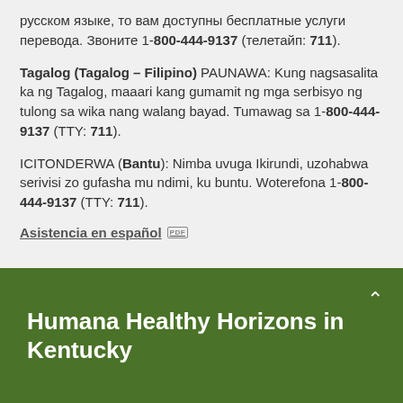русском языке, то вам доступны бесплатные услуги перевода. Звоните 1-800-444-9137 (телетайп: 711).
Tagalog (Tagalog – Filipino) PAUNAWA: Kung nagsasalita ka ng Tagalog, maaari kang gumamit ng mga serbisyo ng tulong sa wika nang walang bayad. Tumawag sa 1-800-444-9137 (TTY: 711).
ICITONDERWA (Bantu): Nimba uvuga Ikirundi, uzohabwa serivisi zo gufasha mu ndimi, ku buntu. Woterefona 1-800-444-9137 (TTY: 711).
Asistencia en español [PDF]
Humana Healthy Horizons in Kentucky